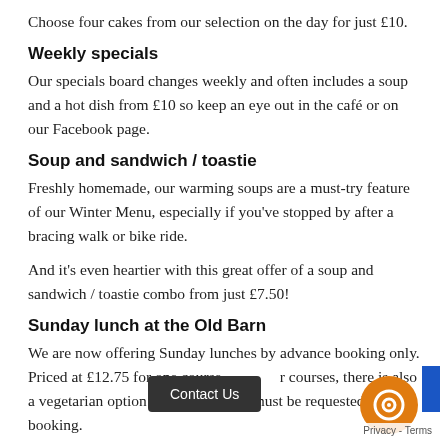Choose four cakes from our selection on the day for just £10.
Weekly specials
Our specials board changes weekly and often includes a soup and a hot dish from £10 so keep an eye out in the café or on our Facebook page.
Soup and sandwich / toastie
Freshly homemade, our warming soups are a must-try feature of our Winter Menu, especially if you've stopped by after a bracing walk or bike ride.
And it's even heartier with this great offer of a soup and sandwich / toastie combo from just £7.50!
Sunday lunch at the Old Barn
We are now offering Sunday lunches by advance booking only. Priced at £12.75 for one course or more courses, there is also a vegetarian option available which must be requested when booking.